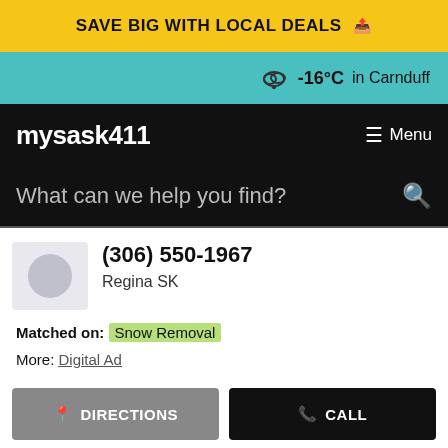SAVE BIG WITH LOCAL DEALS
-16°C in Carnduff
mysask411
Menu
What can we help you find?
(306) 550-1967
Regina SK
Matched on: Snow Removal
More: Digital Ad
DIRECTIONS   CALL